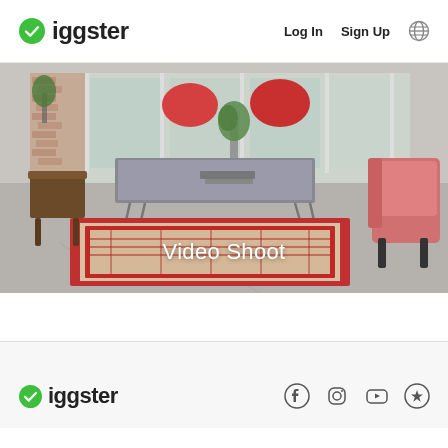Giggster  Log In  Sign Up
[Figure (photo): Interior loft space with a red patterned rug on a concrete floor, coffee table on hairpin legs, red pillows and a pink velvet armchair, large windows, with text overlay 'Video Shoot']
Giggster  [Facebook] [Instagram] [YouTube] [Trustpilot]